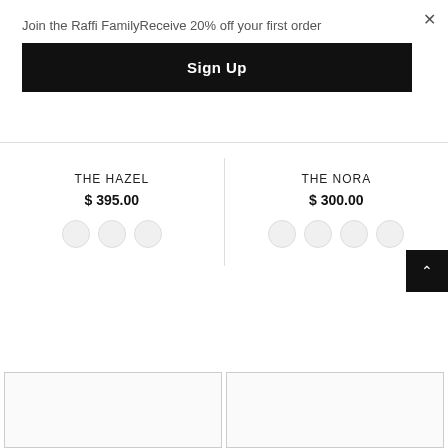Join the Raffi FamilyReceive 20% off your first order
Sign Up
THE HAZEL
$ 395.00
THE NORA
$ 300.00
[Figure (screenshot): Two product image placeholders at the bottom of the page, side by side, with light gray borders]